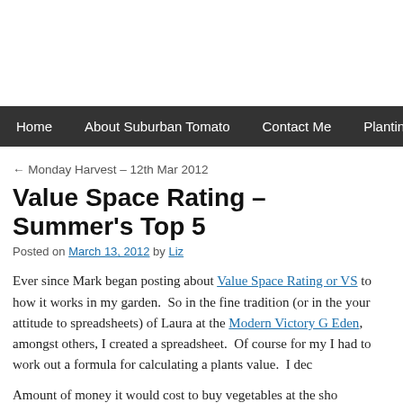Home | About Suburban Tomato | Contact Me | Planting Notes
← Monday Harvest – 12th Mar 2012
Value Space Rating – Summer's Top 5
Posted on March 13, 2012 by Liz
Ever since Mark began posting about Value Space Rating or VS... to how it works in my garden.  So in the fine tradition (or in the... your attitude to spreadsheets) of Laura at the Modern Victory G... Eden, amongst others, I created a spreadsheet.  Of course for my... I had to work out a formula for calculating a plants value.  I dec...
Amount of money it would cost to buy vegetables at the sho...